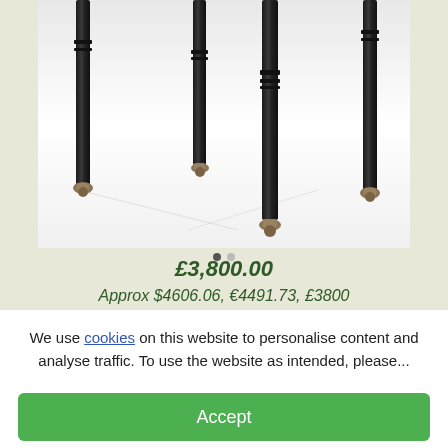[Figure (photo): Close-up photo of black ebonized table legs with brass caster wheels on a white background]
£3,800.00
Approx $4606.06, €4491.73, £3800
We use cookies on this website to personalise content and analyse traffic. To use the website as intended, please...
Accept